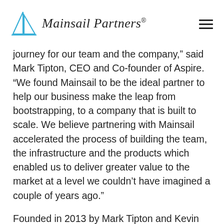Mainsail Partners
journey for our team and the company,” said Mark Tipton, CEO and Co-founder of Aspire. “We found Mainsail to be the ideal partner to help our business make the leap from bootstrapping, to a company that is built to scale. We believe partnering with Mainsail accelerated the process of building the team, the infrastructure and the products which enabled us to deliver greater value to the market at a level we couldn’t have imagined a couple of years ago.”
Founded in 2013 by Mark Tipton and Kevin Kehoe, Aspire delivers software solutions to help landscaping contractors grow their businesses. The company